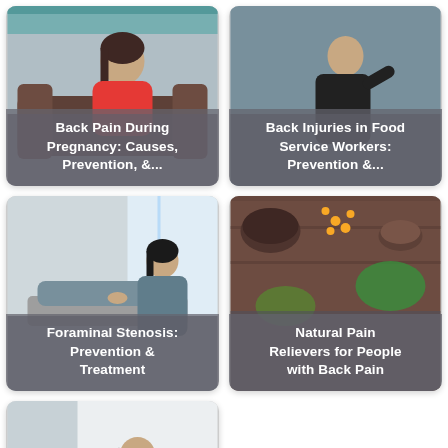[Figure (photo): Woman sitting on a couch appearing to have back pain during pregnancy, with text overlay 'Back Pain During Pregnancy: Causes, Prevention, &...']
[Figure (photo): Person holding their back in pain, food service worker context, with text overlay 'Back Injuries in Food Service Workers: Prevention &...']
[Figure (photo): Woman receiving physical therapy or massage treatment, with text overlay 'Foraminal Stenosis: Prevention & Treatment']
[Figure (photo): Overhead view of natural herbs, spices and flowers on wooden table, with text overlay 'Natural Pain Relievers for People with Back Pain']
[Figure (photo): Woman hunched over appearing to be in pain, with partial text overlay 'Which Is Worse: Back...']